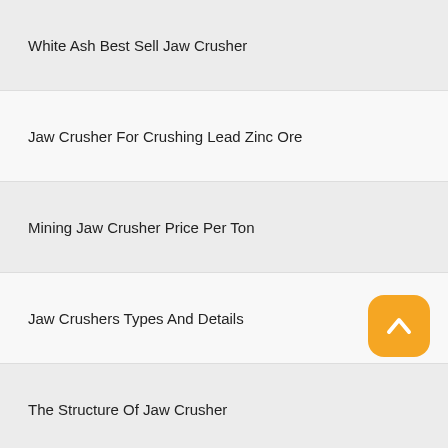White Ash Best Sell Jaw Crusher
Jaw Crusher For Crushing Lead Zinc Ore
Mining Jaw Crusher Price Per Ton
Jaw Crushers Types And Details
The Structure Of Jaw Crusher
Jaw Crusher For Dolomite 05 M
Copyright © 2021.HeNan Heavy Hireo Mining Machinery Co., Ltd all rights reserved. sitemap
Leave Message
Free Consultation